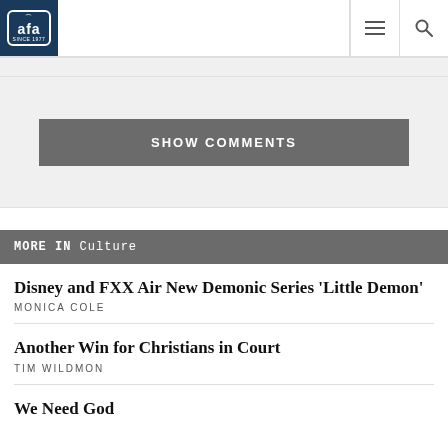AFA SINCE 1977
SHOW COMMENTS
MORE IN Culture
Disney and FXX Air New Demonic Series 'Little Demon'
MONICA COLE
Another Win for Christians in Court
TIM WILDMON
We Need God